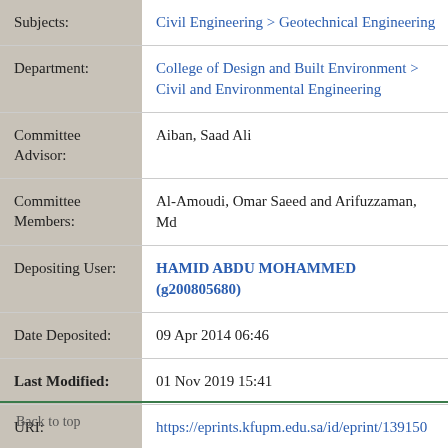| Field | Value |
| --- | --- |
| Subjects: | Civil Engineering > Geotechnical Engineering |
| Department: | College of Design and Built Environment > Civil and Environmental Engineering |
| Committee Advisor: | Aiban, Saad Ali |
| Committee Members: | Al-Amoudi, Omar Saeed and Arifuzzaman, Md |
| Depositing User: | HAMID ABDU MOHAMMED (g200805680) |
| Date Deposited: | 09 Apr 2014 06:46 |
| Last Modified: | 01 Nov 2019 15:41 |
| URI: | https://eprints.kfupm.edu.sa/id/eprint/139150 |
Back to top